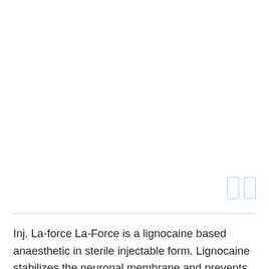[Figure (other): Two small light-blue outlined rectangles (UI icons) in the upper-right area of the page]
Inj. La-force La-Force is a lignocaine based anaesthetic in sterile injectable form. Lignocaine stabilizes the neuronal membrane and prevents the initiation and conduction of nerve impulses, thereby effecting local